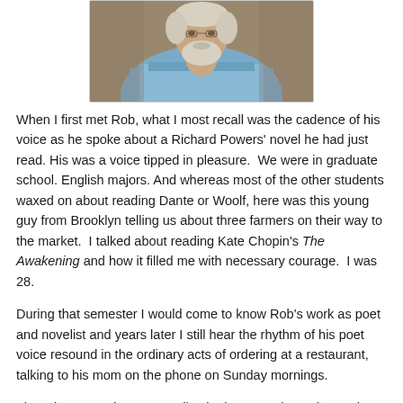[Figure (photo): Photograph of a man (Rob) shown from chest up, wearing a blue shirt, with white/grey hair and beard, seated in what appears to be an indoor setting.]
When I first met Rob, what I most recall was the cadence of his voice as he spoke about a Richard Powers' novel he had just read. His was a voice tipped in pleasure.  We were in graduate school. English majors. And whereas most of the other students waxed on about reading Dante or Woolf, here was this young guy from Brooklyn telling us about three farmers on their way to the market.  I talked about reading Kate Chopin's The Awakening and how it filled me with necessary courage.  I was 28.
During that semester I would come to know Rob's work as poet and novelist and years later I still hear the rhythm of his poet voice resound in the ordinary acts of ordering at a restaurant, talking to his mom on the phone on Sunday mornings.
There is no test that can predict the immense love triggered solely by the sound of your lover's voice. There is no